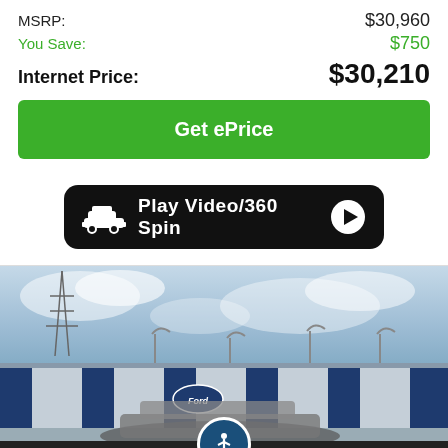MSRP: $30,960
You Save: $750
Internet Price: $30,210
Get ePrice
[Figure (screenshot): Black banner button with car icon and play button: Play Video/360 Spin]
[Figure (photo): Exterior photo of a Ford dealership building with blue and silver facade, Ford logos visible, vehicle partially visible in foreground]
Alerts  Save  Compare 0  Login